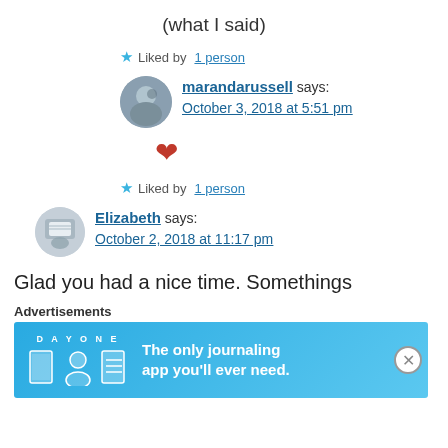(what I said)
★ Liked by 1 person
marandarussell says: October 3, 2018 at 5:51 pm
[Figure (photo): Avatar photo of marandarussell, circular cropped]
❤
★ Liked by 1 person
[Figure (photo): Avatar photo of Elizabeth, circular cropped]
Elizabeth says: October 2, 2018 at 11:17 pm
Glad you had a nice time. Somethings
Advertisements
[Figure (screenshot): Day One journaling app advertisement banner: 'The only journaling app you'll ever need.']